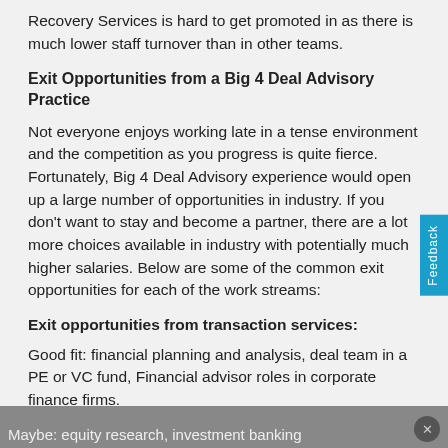Recovery Services is hard to get promoted in as there is much lower staff turnover than in other teams.
Exit Opportunities from a Big 4 Deal Advisory Practice
Not everyone enjoys working late in a tense environment and the competition as you progress is quite fierce. Fortunately, Big 4 Deal Advisory experience would open up a large number of opportunities in industry. If you don't want to stay and become a partner, there are a lot more choices available in industry with potentially much higher salaries. Below are some of the common exit opportunities for each of the work streams:
Exit opportunities from transaction services:
Good fit: financial planning and analysis, deal team in a PE or VC fund, Financial advisor roles in corporate finance firms.
Maybe: equity research, investment banking